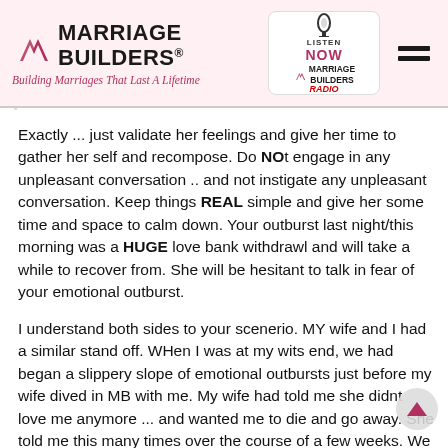Marriage Builders® — Building Marriages That Last A Lifetime — Listen Now Marriage Builders Radio
Exactly ... just validate her feelings and give her time to gather her self and recompose. Do NOt engage in any unpleasant conversation .. and not instigate any unpleasant conversation. Keep things REAL simple and give her some time and space to calm down. Your outburst last night/this morning was a HUGE love bank withdrawl and will take a while to recover from. She will be hesitant to talk in fear of your emotional outburst.
I understand both sides to your scenerio. MY wife and I had a similar stand off. WHen I was at my wits end, we had began a slippery slope of emotional outbursts just before my wife dived in MB with me. My wife had told me she didnt love me anymore ... and wanted me to die and go away. She told me this many times over the course of a few weeks. We that fueled my insecurity to the point where i was going to fulfill that request and kill myself.